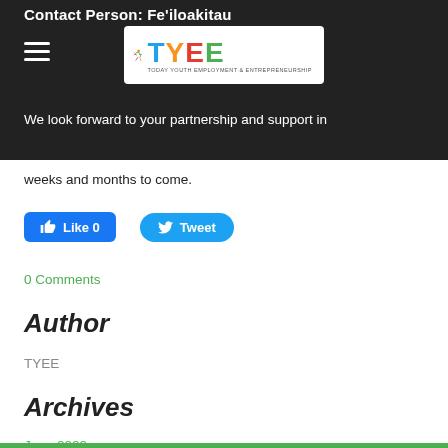Contact Person: Fe'iloakitau Kaho Tevi
[Figure (logo): TYEE - Today Youth Employment & Entrepreneurship logo with colorful letters and a figure icon]
We look forward to your partnership and support in weeks and months to come.
Like 0   Tweet
0 Comments
Author
TYEE
Archives
June 2022
February 2022
October 2021